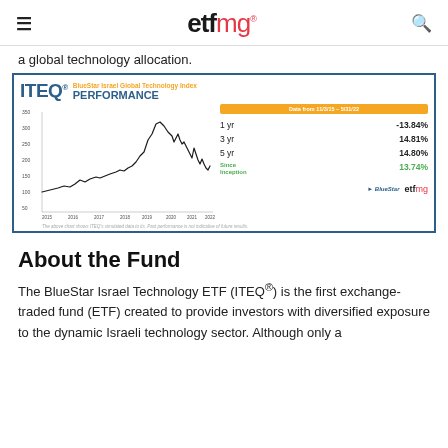etfmg
a global technology allocation.
[Figure (continuous-plot): Line chart showing ITEQ BlueStar Israel Global Technology Index performance from 2015 to 2022, rising from ~100 to a peak of ~350 around 2021 then declining to ~220. Data from 11/3/15 – 5/31/22. Performance stats: 1yr -13.84%, 3yr 14.81%, 5yr 14.80%, Since Inception 13.74%.]
About the Fund
The BlueStar Israel Technology ETF (ITEQ®) is the first exchange-traded fund (ETF) created to provide investors with diversified exposure to the dynamic Israeli technology sector. Although only a